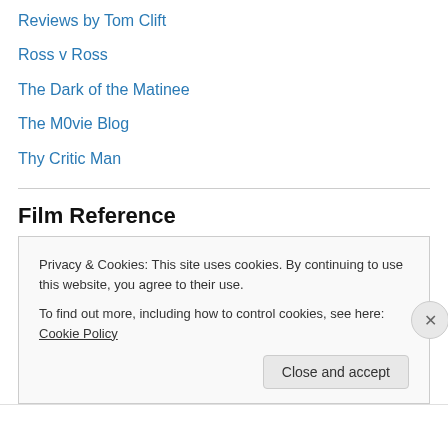Reviews by Tom Clift
Ross v Ross
The Dark of the Matinee
The M0vie Blog
Thy Critic Man
Film Reference
/Film
CriticWire
In Contention
Metacritic
Movie City News
Privacy & Cookies: This site uses cookies. By continuing to use this website, you agree to their use.
To find out more, including how to control cookies, see here: Cookie Policy